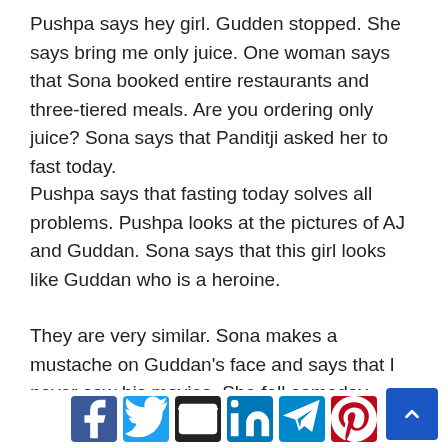Pushpa says hey girl. Gudden stopped. She says bring me only juice. One woman says that Sona booked entire restaurants and three-tiered meals. Are you ordering only juice? Sona says that Panditji asked her to fast today.
Pushpa says that fasting today solves all problems. Pushpa looks at the pictures of AJ and Guddan. Sona says that this girl looks like Guddan who is a heroine.
They are very similar. Sona makes a mustache on Guddan's face and says that I never saw his movies. She fell someday. They laugh. Choti comes and says stop.